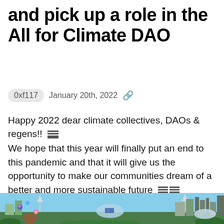and pick up a role in the All for Climate DAO
0xf117   January 20th, 2022
Happy 2022 dear climate collectives, DAOs & regens!!
We hope that this year will finally put an end to this pandemic and that it will give us the opportunity to make our communities dream of a better and more sustainable future
[Figure (illustration): Colorful futuristic illustration of a sustainable city with wind turbines, solar panels, green rooftop gardens, domes, a woman smelling a flower in the foreground, set against a blue sky.]